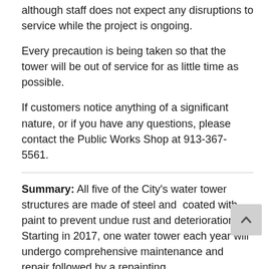although staff does not expect any disruptions to service while the project is ongoing.
Every precaution is being taken so that the tower will be out of service for as little time as possible.
If customers notice anything of a significant nature, or if you have any questions, please contact the Public Works Shop at 913-367-5561.
Summary: All five of the City’s water tower structures are made of steel and coated with paint to prevent undue rust and deterioration. Starting in 2017, one water tower each year will undergo comprehensive maintenance and repair followed by a repainting.
Funding: 100% City of Atchison Water Fund